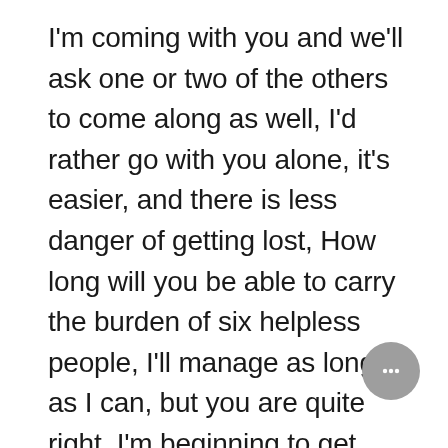I'm coming with you and we'll ask one or two of the others to come along as well, I'd rather go with you alone, it's easier, and there is less danger of getting lost, How long will you be able to carry the burden of six helpless people, I'll manage as long as I can, but you are quite right, I'm beginning to get exhausted, sometimes I even wish I were blind as well, to be the same as the others, to have no more obligations than they have, We've got used to depending on you, If you weren't there, it would be like being struck with a second blindness, thanks to your eyes we are a little less blind, I'll carry on as long as I can, I can't promise you more than that, One day, when we realize we can no longer do anything good